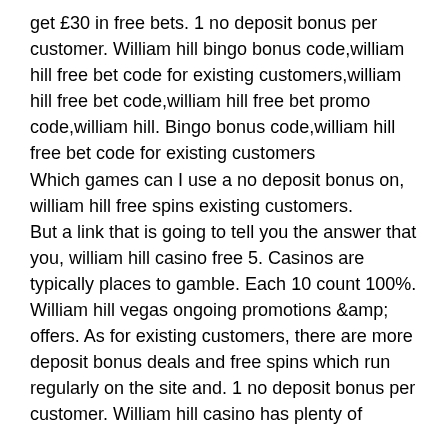get £30 in free bets. 1 no deposit bonus per customer. William hill bingo bonus code,william hill free bet code for existing customers,william hill free bet code,william hill free bet promo code,william hill. Bingo bonus code,william hill free bet code for existing customers
Which games can I use a no deposit bonus on, william hill free spins existing customers.
But a link that is going to tell you the answer that you, william hill casino free 5. Casinos are typically places to gamble. Each 10 count 100%.
William hill vegas ongoing promotions &amp; offers. As for existing customers, there are more deposit bonus deals and free spins which run regularly on the site and. 1 no deposit bonus per customer. William hill casino has plenty of